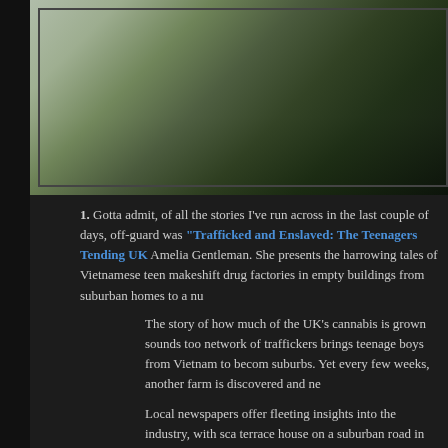[Figure (photo): Outdoor photo showing a garden or yard area with green hedges/trees and a light-colored wall or path, dark toned]
1. Gotta admit, of all the stories I've run across in the last couple of days, off-guard was "Trafficked and Enslaved: The Teenagers Tending UK Amelia Gentleman. She presents the harrowing tales of Vietnamese teen makeshift drug factories in empty buildings from suburban homes to a nu
The story of how much of the UK's cannabis is grown sounds too network of traffickers brings teenage boys from Vietnam to becom suburbs. Yet every few weeks, another farm is discovered and ne
Local newspapers offer fleeting insights into the industry, with sca terrace house on a suburban road in Liverpool after neighbours co house stripped of furniture and converted into a cannabis farm, wi beneath the floorboards. That a cannabis gardener in County Arm food. Or that police visited a two-storey house in Plymouth and fo cellar to attic, tended by a Vietnamese boy with injuries to his face the care of social services while investigations were launched, bu
This is some incredibly dark shit that Gentleman is exposing, here, and